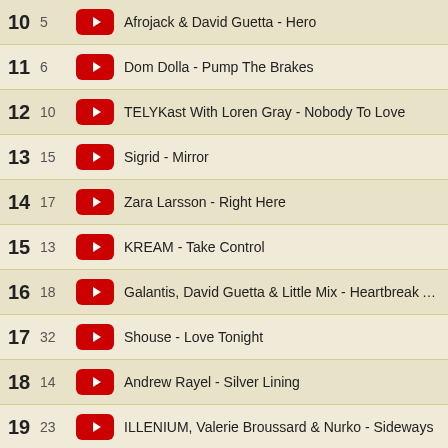10  5  Afrojack & David Guetta - Hero
11  6  Dom Dolla - Pump The Brakes
12  10  TELYKast With Loren Gray - Nobody To Love
13  15  Sigrid - Mirror
14  17  Zara Larsson - Right Here
15  13  KREAM - Take Control
16  18  Galantis, David Guetta & Little Mix - Heartbreak Anthem
17  32  Shouse - Love Tonight
18  14  Andrew Rayel - Silver Lining
19  23  ILLENIUM, Valerie Broussard & Nurko - Sideways
20  37  Ed Sheeran - Bad Habits
PREVIOUS WEEKS
2021
2020